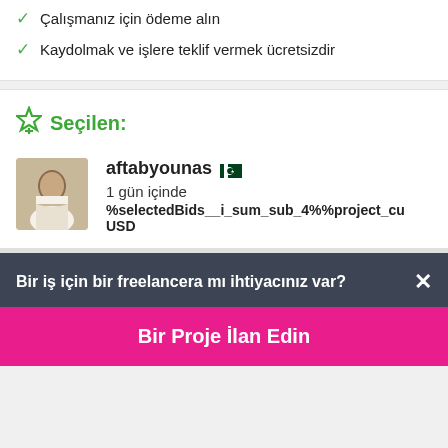Çalışmanız için ödeme alın
Kaydolmak ve işlere teklif vermek ücretsizdir
Seçilen:
aftabyounas
1 gün içinde
%selectedBids__i_sum_sub_4%%project_cu USD
Bir iş için bir freelancera mı ihtiyacınız var?
Bir Proje İlan Edin